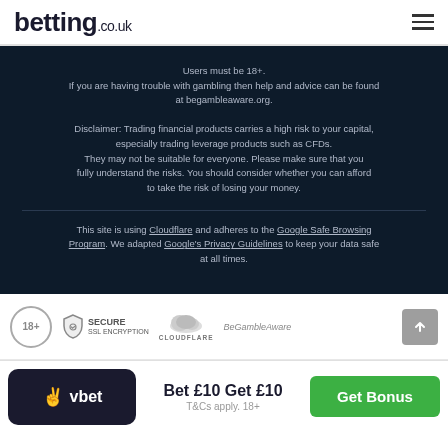betting.co.uk
Users must be 18+. If you are having trouble with gambling then help and advice can be found at begambleaware.org.
Disclaimer: Trading financial products carries a high risk to your capital, especially trading leverage products such as CFDs. They may not be suitable for everyone. Please make sure that you fully understand the risks. You should consider whether you can afford to take the risk of losing your money.
This site is using Cloudflare and adheres to the Google Safe Browsing Program. We adapted Google's Privacy Guidelines to keep your data safe at all times.
[Figure (infographic): Trust badges row: 18+ circle badge, Secure SSL Encryption badge with shield icon, Cloudflare badge with cloud icon, BeGambleAware text badge, scroll-to-top button]
Bet £10 Get £10 T&Cs apply. 18+